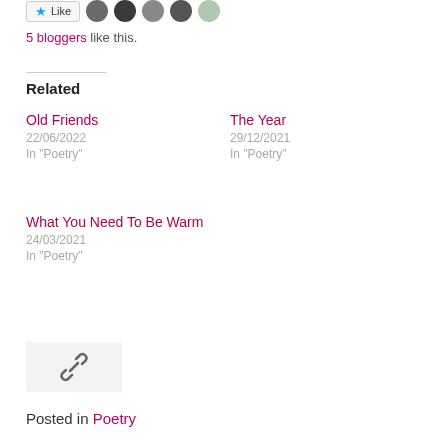[Figure (other): Like button with star icon and 5 blogger avatars]
5 bloggers like this.
Related
Old Friends
22/06/2022
In "Poetry"
The Year
29/12/2021
In "Poetry"
What You Need To Be Warm
24/03/2021
In "Poetry"
[Figure (other): Link/chain icon in a light grey box]
Posted in Poetry